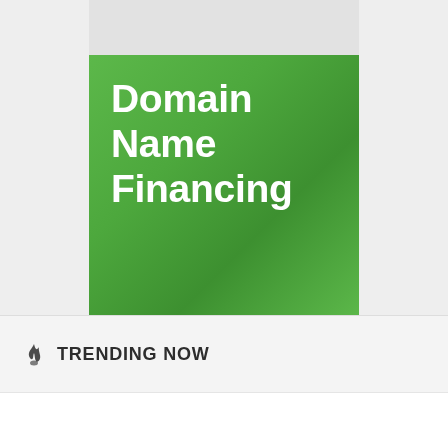[Figure (illustration): Book cover with green background showing title 'Domain Name Financing' in white bold text, with a dark/black textured section below]
🔥 TRENDING NOW